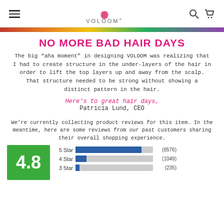VOLOOM
NO MORE BAD HAIR DAYS
The big “aha moment” in designing VOLOOM was realizing that I had to create structure in the under-layers of the hair in order to lift the top layers up and away from the scalp. That structure needed to be strong without showing a distinct pattern in the hair.
Here’s to great hair days,
Patricia Lund, CEO
We’re currently collecting product reviews for this item. In the meantime, here are some reviews from our past customers sharing their overall shopping experience.
[Figure (bar-chart): 4.8 star rating]